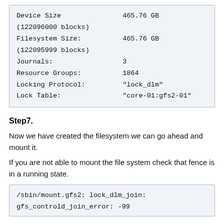| Device Size | 465.76 GB |
| (122096000 blocks) |  |
| Filesystem Size: | 465.76 GB |
| (122095999 blocks) |  |
| Journals: | 3 |
| Resource Groups: | 1864 |
| Locking Protocol: | "lock_dlm" |
| Lock Table: | "core-01:gfs2-01" |
Step7.
Now we have created the filesystem we can go ahead and mount it.
If you are not able to mount the file system check that fence is in a running state.
| /sbin/mount.gfs2: lock_dlm_join: |
| gfs_controld_join_error: -99 |